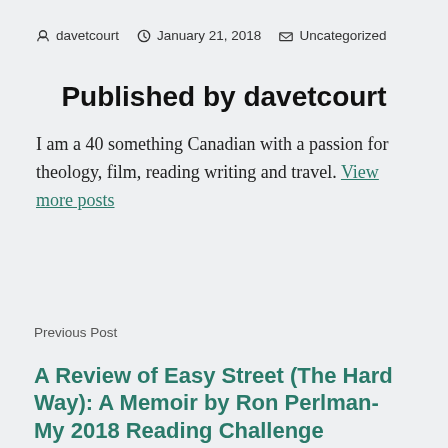davetcourt   January 21, 2018   Uncategorized
Published by davetcourt
I am a 40 something Canadian with a passion for theology, film, reading writing and travel. View more posts
Previous Post
A Review of Easy Street (The Hard Way): A Memoir by Ron Perlman- My 2018 Reading Challenge